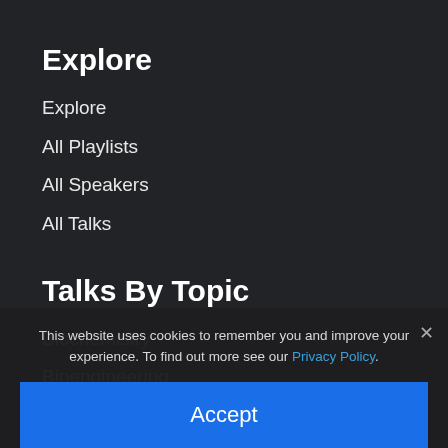Explore
Explore
All Playlists
All Speakers
All Talks
Talks By Topic
Biochemistry
Bioengineering
Biology
Cell Biology
Developmental Biology
Ecology
This website uses cookies to remember you and improve your experience. To find out more see our Privacy Policy.
Accept